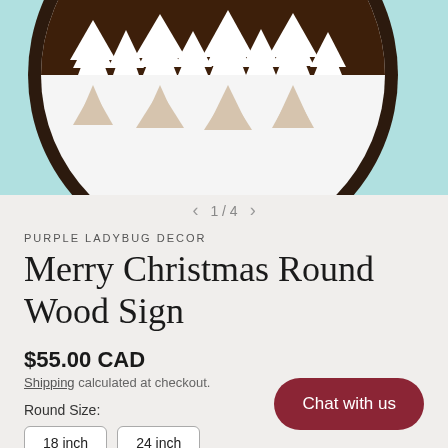[Figure (photo): Product photo of a round wood sign with white pine tree silhouettes on dark wood background, displayed against a light teal/mint painted wood wall backdrop. The circular sign shows a winter forest scene.]
1 / 4
PURPLE LADYBUG DECOR
Merry Christmas Round Wood Sign
$55.00 CAD
Shipping calculated at checkout.
Round Size:
18 inch
24 inch
Chat with us